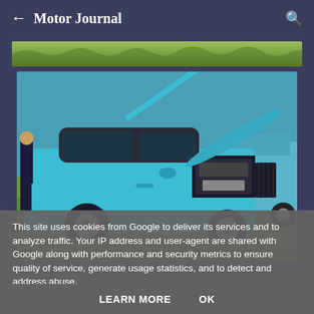← Motor Journal 🔍
[Figure (photo): Narrow horizontal green grass/landscape strip image at top of content area]
[Figure (photo): A light blue/teal classic Mini car with hood open at a car show, parked on grass with other vehicles and people visible in background]
This site uses cookies from Google to deliver its services and to analyze traffic. Your IP address and user-agent are shared with Google along with performance and security metrics to ensure quality of service, generate usage statistics, and to detect and address abuse.
LEARN MORE   OK